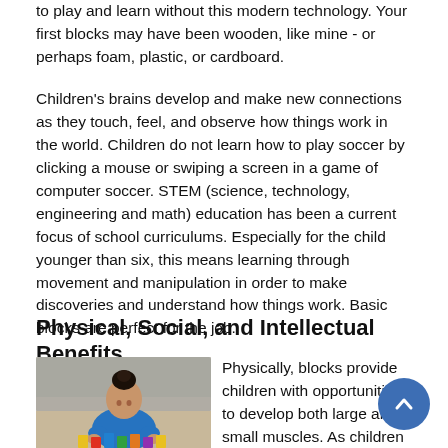to play and learn without this modern technology. Your first blocks may have been wooden, like mine - or perhaps foam, plastic, or cardboard.
Children's brains develop and make new connections as they touch, feel, and observe how things work in the world. Children do not learn how to play soccer by clicking a mouse or swiping a screen in a game of computer soccer. STEM (science, technology, engineering and math) education has been a current focus of school curriculums. Especially for the child younger than six, this means learning through movement and manipulation in order to make discoveries and understand how things work. Basic blocks are perfect for the job.
Physical, Social, and Intellectual Benefits
[Figure (photo): A young child in a blue shirt sitting on the floor building with colorful blocks, with a grey couch in the background.]
Physically, blocks provide children with opportunities to develop both large and small muscles. As children lift, hold, and build with blocks, their skills and strength increase right...